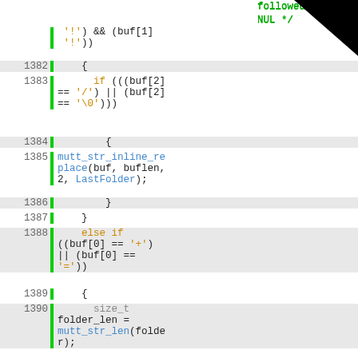Source code listing showing C code lines 1381-1394 with syntax highlighting. Keywords in orange, function names in blue, comments in green.
[Figure (screenshot): C source code with line numbers 1381-1394, showing conditional logic for path expansion including mutt_str_inline_replace and mutt_str_len function calls.]